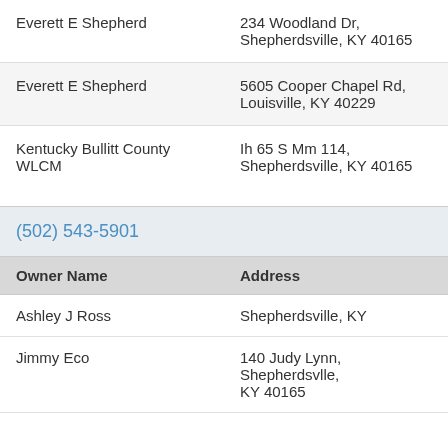| Owner Name | Address |
| --- | --- |
| Everett E Shepherd | 234 Woodland Dr, Shepherdsville, KY 40165 |
| Everett E Shepherd | 5605 Cooper Chapel Rd, Louisville, KY 40229 |
| Kentucky Bullitt County WLCM | Ih 65 S Mm 114, Shepherdsville, KY 40165 |
(502) 543-5901
| Owner Name | Address |
| --- | --- |
| Ashley J Ross | Shepherdsville, KY |
| Jimmy Eco | 140 Judy Lynn, Shepherdsvlle, KY 40165 |